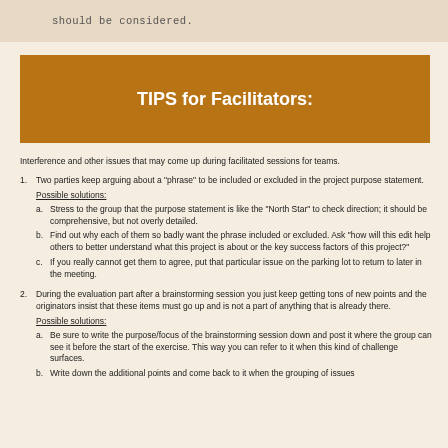should be considered.
TIPS for Facilitators:
Interference and other issues that may come up during facilitated sessions for teams.
Two parties keep arguing about a "phrase" to be included or excluded in the project purpose statement.
Possible solutions:
Stress to the group that the purpose statement is like the "North Star" to check direction; it should be comprehensive, but not overly detailed.
Find out why each of them so badly want the phrase included or excluded. Ask "how will this edit help others to better understand what this project is about or the key success factors of this project?"
If you really cannot get them to agree, put that particular issue on the parking lot to return to later in the meeting.
During the evaluation part after a brainstorming session you just keep getting tons of new points and the originators insist that these items must go up and is not a part of anything that is already there.
Possible solutions:
Be sure to write the purpose/focus of the brainstorming session down and post it where the group can see it before the start of the exercise. This way you can refer to it when this kind of challenge surfaces.
Write down the additional points and come back to it when the grouping of issues